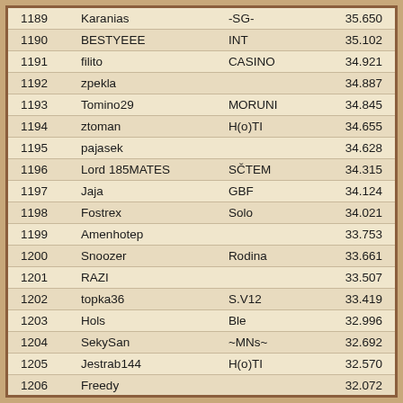| Rank | Name | Clan | Score |
| --- | --- | --- | --- |
| 1189 | Karanias | -SG- | 35.650 |
| 1190 | BESTYEEE | INT | 35.102 |
| 1191 | filito | CASINO | 34.921 |
| 1192 | zpekla |  | 34.887 |
| 1193 | Tomino29 | MORUNI | 34.845 |
| 1194 | ztoman | H(o)TI | 34.655 |
| 1195 | pajasek |  | 34.628 |
| 1196 | Lord 185MATES | SČTEM | 34.315 |
| 1197 | Jaja | GBF | 34.124 |
| 1198 | Fostrex | Solo | 34.021 |
| 1199 | Amenhotep |  | 33.753 |
| 1200 | Snoozer | Rodina | 33.661 |
| 1201 | RAZI |  | 33.507 |
| 1202 | topka36 | S.V12 | 33.419 |
| 1203 | Hols | Ble | 32.996 |
| 1204 | SekySan | ~MNs~ | 32.692 |
| 1205 | Jestrab144 | H(o)TI | 32.570 |
| 1206 | Freedy |  | 32.072 |
| 1207 | Drjak | +OT+ | 32.040 |
| 1208 | ARIES | KTNO | 31.005 |